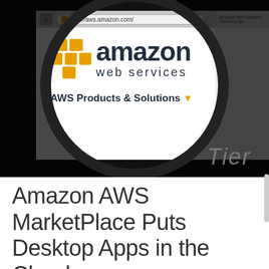[Figure (photo): Photo of a magnifying glass focused on the Amazon Web Services (AWS) website on a computer screen, showing the AWS logo with orange cubes, the text 'amazon web services', 'AWS Products & Solutions' navigation, and the URL http://aws.amazon.com/ in the browser bar. The word 'Tier' is visible in the bottom right. The background outside the magnifier lens is dark/black.]
Amazon AWS MarketPlace Puts Desktop Apps in the Cloud
November 5, 2016   sristy   APP